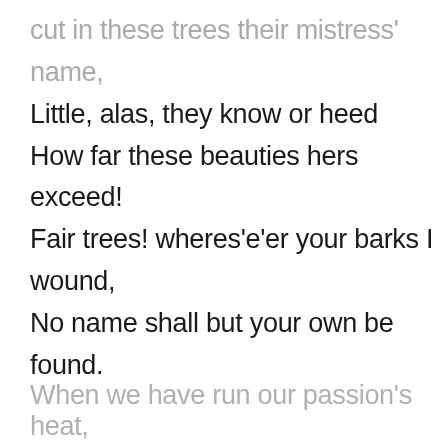cut in these trees their mistress' name,
Little, alas, they know or heed
How far these beauties hers exceed!
Fair trees! wheres'e'er your barks I wound,
No name shall but your own be found.
When we have run our passion's heat,